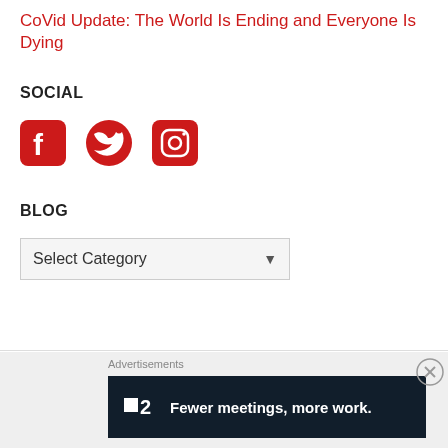CoVid Update: The World Is Ending and Everyone Is Dying
SOCIAL
[Figure (illustration): Three red social media icons: Facebook, Twitter, Instagram]
BLOG
Select Category (dropdown)
Advertisements
[Figure (infographic): Dark advertisement banner: P2 logo with text 'Fewer meetings, more work.']